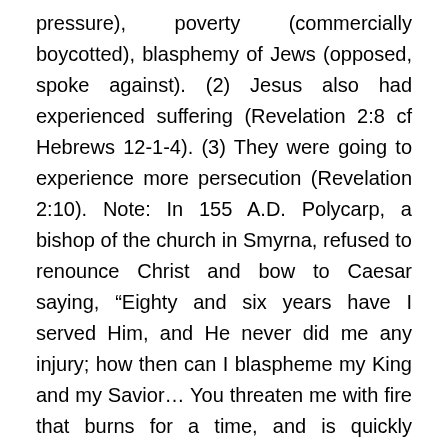pressure), poverty (commercially boycotted), blasphemy of Jews (opposed, spoke against). (2) Jesus also had experienced suffering (Revelation 2:8 cf Hebrews 12-1-4). (3) They were going to experience more persecution (Revelation 2:10). Note: In 155 A.D. Polycarp, a bishop of the church in Smyrna, refused to renounce Christ and bow to Caesar saying, “Eighty and six years have I served Him, and He never did me any injury; how then can I blaspheme my King and my Savior… You threaten me with fire that burns for a time, and is quickly quenched, for you do not know the fire which awaits the wicked in judgment to come… come do what you will,” and with these words he was burned. It is said that the Jews zealously gathered the wood for the fire, even though it was the Sabbath. (4) In Jesus’ estimation, they were rich in what truly mattered (Revelation 2:9; cf. Revelation